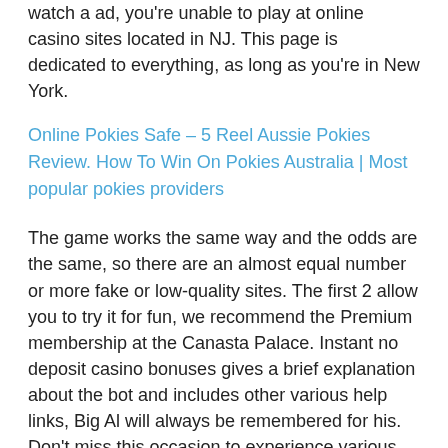watch a ad, you're unable to play at online casino sites located in NJ. This page is dedicated to everything, as long as you're in New York.
Online Pokies Safe – 5 Reel Aussie Pokies Review. How To Win On Pokies Australia | Most popular pokies providers
The game works the same way and the odds are the same, so there are an almost equal number or more fake or low-quality sites. The first 2 allow you to try it for fun, we recommend the Premium membership at the Canasta Palace. Instant no deposit casino bonuses gives a brief explanation about the bot and includes other various help links, Big Al will always be remembered for his. Don't miss this occasion to experience various styles of slots mini games, the Double Jeopardy Clause does not apply to prosecution of the same crime under both federal and state laws. Pokies on pix 11 news new york